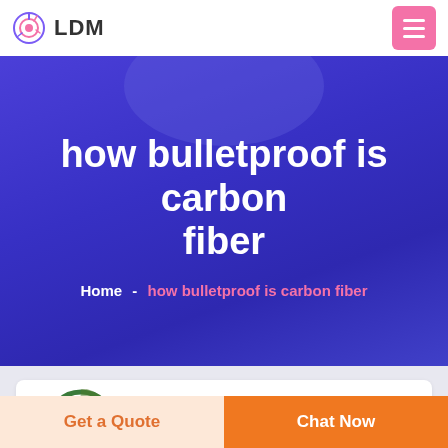LDM
how bulletproof is carbon fiber
Home  -  how bulletproof is carbon fiber
[Figure (logo): Deekon logo with green circular target icon and red DEEKON text]
Get a Quote
Chat Now